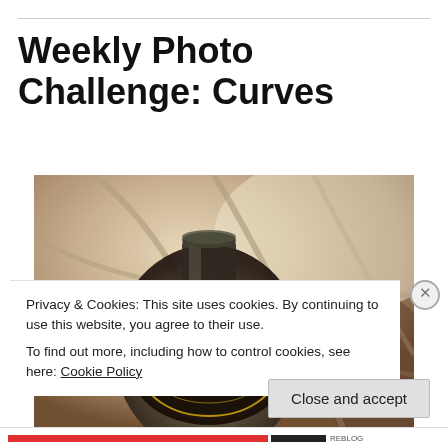Weekly Photo Challenge: Curves
[Figure (photo): Close-up photo of wine bottles in a rack showing curved bottle necks and labels, sepia/warm toned]
Privacy & Cookies: This site uses cookies. By continuing to use this website, you agree to their use.
To find out more, including how to control cookies, see here: Cookie Policy
Close and accept